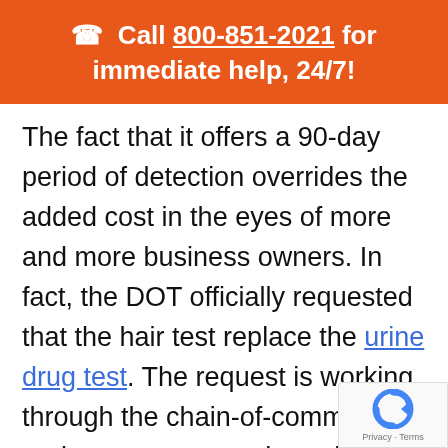📞 Call 800-851-2021 for immediate help, 24/7!
The fact that it offers a 90-day period of detection overrides the added cost in the eyes of more and more business owners. In fact, the DOT officially requested that the hair test replace the urine drug test. The request is working through the chain-of-command and many expect to hear the final word anytime now.